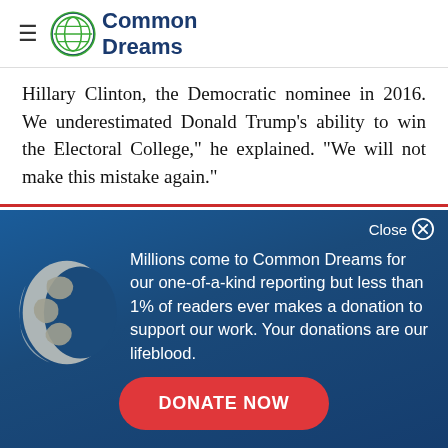Common Dreams
Hillary Clinton, the Democratic nominee in 2016. We underestimated Donald Trump's ability to win the Electoral College," he explained. "We will not make this mistake again."
Close
[Figure (logo): Common Dreams globe logo icon (light blue/grey globe silhouette on dark blue background)]
Millions come to Common Dreams for our one-of-a-kind reporting but less than 1% of readers ever makes a donation to support our work. Your donations are our lifeblood.
DONATE NOW